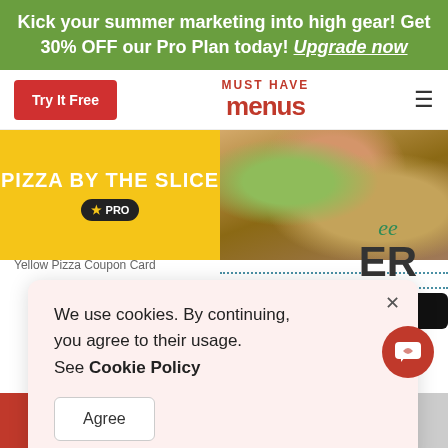Kick your summer marketing into high gear! Get 30% OFF our Pro Plan today! Upgrade now
[Figure (screenshot): MustHaveMenus website navigation bar with Try It Free button, logo, and hamburger menu]
[Figure (screenshot): Yellow Pizza Coupon Card with PRO badge and food photo on right]
Yellow Pizza Coupon Card
We use cookies. By continuing, you agree to their usage. See Cookie Policy
Agree